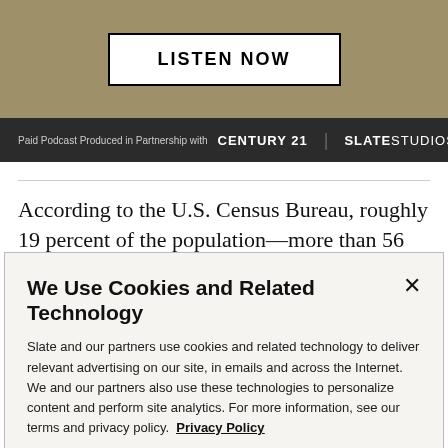[Figure (other): LISTEN NOW button on tan/khaki background banner]
Paid Podcast Produced in Partnership with CENTURY 21 | SLATE STUDIOS
According to the U.S. Census Bureau, roughly 19 percent of the population—more than 56 million people—qualify
We Use Cookies and Related Technology
Slate and our partners use cookies and related technology to deliver relevant advertising on our site, in emails and across the Internet. We and our partners also use these technologies to personalize content and perform site analytics. For more information, see our terms and privacy policy. Privacy Policy
OK